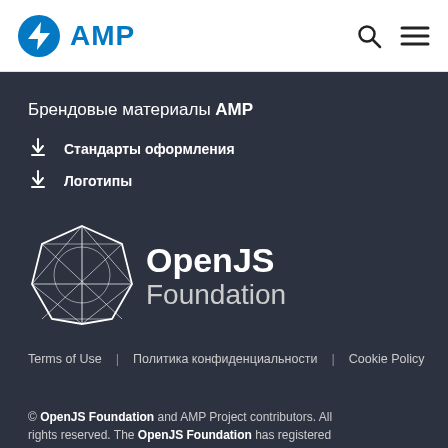AMP
Брендовые материалы AMP
Стандарты оформления
Логотипы
[Figure (logo): OpenJS Foundation logo — geometric diamond icon with OpenJS Foundation text in white on dark background]
Terms of Use   Политика конфиденциальности   Cookie Policy
© OpenJS Foundation and AMP Project contributors. All rights reserved. The OpenJS Foundation has registered...